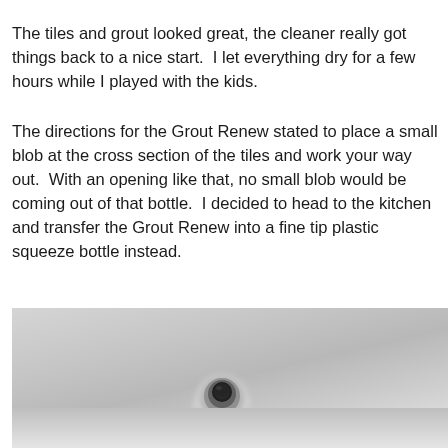The tiles and grout looked great, the cleaner really got things back to a nice start.  I let everything dry for a few hours while I played with the kids.
The directions for the Grout Renew stated to place a small blob at the cross section of the tiles and work your way out.  With an opening like that, no small blob would be coming out of that bottle.  I decided to head to the kitchen and transfer the Grout Renew into a fine tip plastic squeeze bottle instead.
[Figure (photo): A blurred close-up photo showing white tiles and what appears to be the top opening of a squeeze bottle or container, viewed from above on a light gray/white tile surface.]